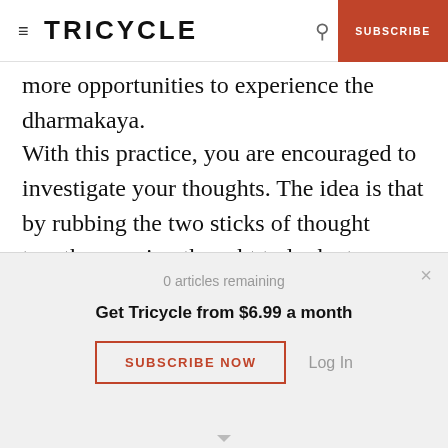TRICYCLE | SUBSCRIBE
more opportunities to experience the dharmakaya.
With this practice, you are encouraged to investigate your thoughts. The idea is that by rubbing the two sticks of thought together—using thought to look at thought—the fire of insight will ignite seemingly from nowhere. Insight does not, of course, actually arise from nowhere. Just as with fuel and fire, there is an intimate connection
0 articles remaining
Get Tricycle from $6.99 a month
SUBSCRIBE NOW
Log In